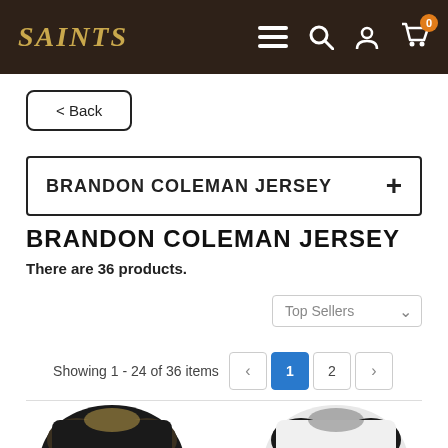SAINTS
< Back
BRANDON COLEMAN JERSEY
BRANDON COLEMAN JERSEY
There are 36 products.
Top Sellers (dropdown)
Showing 1 - 24 of 36 items
[Figure (photo): Two New Orleans Saints Brandon Coleman football jerseys displayed as folded product images, one dark and one white/away version.]